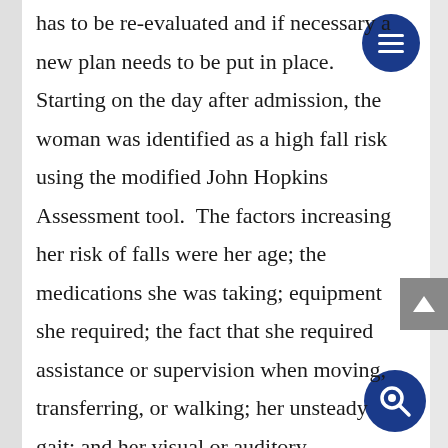has to be re-evaluated and if necessary a new plan needs to be put in place. Starting on the day after admission, the woman was identified as a high fall risk using the modified John Hopkins Assessment tool.  The factors increasing her risk of falls were her age; the medications she was taking; equipment she required; the fact that she required assistance or supervision when moving, transferring, or walking; her unsteady gait; and her visual or auditory impairments.   A bed rail was put up to